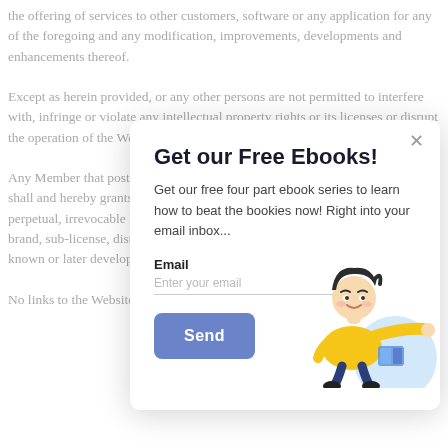the offering of services to other customers, software or any application for any of the foregoing and any modification, improvements, developments and enhancements thereof.
Except as herein provided, or any other persons are not permitted to interfere with, infringe or violate any intellectual property rights or its licenses or disrupt the operation of the Website.
Any Member that posts data, information, material or content on the Website, shall and hereby grants TM Sports Technologies a worldwide, royalty free, perpetual, irrevocable license to use, copy, display, publish, modify, reproduce, brand, sub-license, distribute, data, information, material on any media now known or later developed.
No links to the Website are permitted without our prior written permission.
Get our Free Ebooks!
Get our free four part ebook series to learn how to beat the bookies now! Right into your email inbox...
Email
Enter your email
Send
[Figure (illustration): Cartoon illustration of a person in a yellow shirt pointing to the right, with a blue circular accent behind them.]